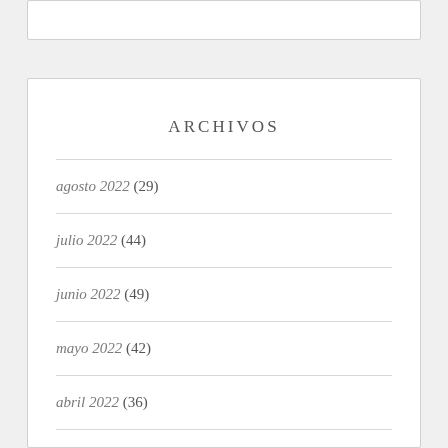ARCHIVOS
agosto 2022 (29)
julio 2022 (44)
junio 2022 (49)
mayo 2022 (42)
abril 2022 (36)